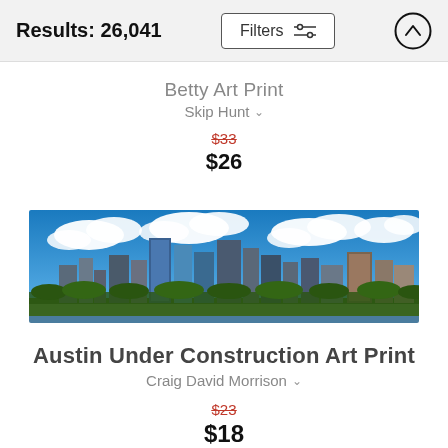Results: 26,041  Filters
Betty Art Print
Skip Hunt
$33  $26
[Figure (photo): Panoramic photo of Austin city skyline under a blue sky with white clouds, with green trees and a body of water in the foreground.]
Austin Under Construction Art Print
Craig David Morrison
$23  $18